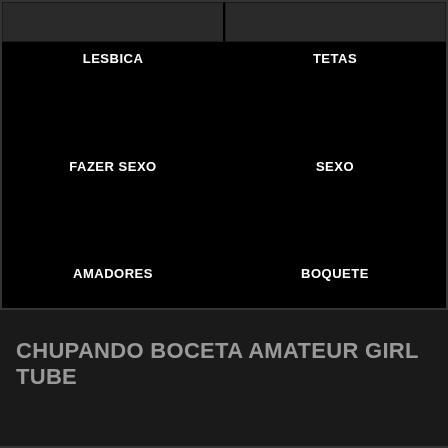[Figure (screenshot): Two small video thumbnail images side by side at the top]
LESBICA
TETAS
FAZER SEXO
SEXO
AMADORES
BOQUETE
CHUPANDO BOCETA AMATEUR GIRL TUBE